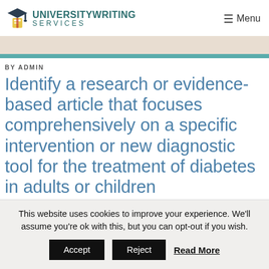[Figure (logo): University Writing Services logo with graduation cap icon on left, text 'UNIVERSITYWRITING SERVICES' in teal]
≡ Menu
BY ADMIN
Identify a research or evidence-based article that focuses comprehensively on a specific intervention or new diagnostic tool for the treatment of diabetes in adults or children
This website uses cookies to improve your experience. We'll assume you're ok with this, but you can opt-out if you wish.
Accept   Reject   Read More